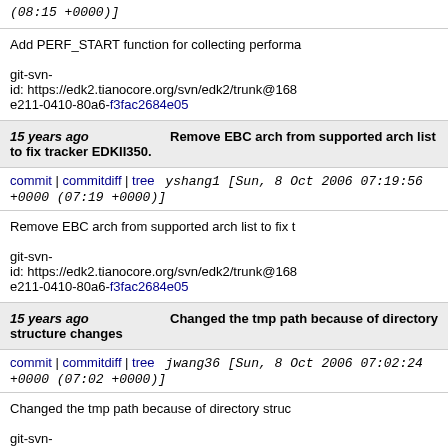(08:15 +0000)]
Add PERF_START function for collecting performa...
git-svn-id: https://edk2.tianocore.org/svn/edk2/trunk@168 e211-0410-80a6-f3fac2684e05
15 years ago  Remove EBC arch from supported arch list to fix tracker EDKII350.
commit | commitdiff | tree  yshang1 [Sun, 8 Oct 2006 07:19:56 +0000 (07:19 +0000)]
Remove EBC arch from supported arch list to fix t...
git-svn-id: https://edk2.tianocore.org/svn/edk2/trunk@168 e211-0410-80a6-f3fac2684e05
15 years ago  Changed the tmp path because of directory structure changes
commit | commitdiff | tree  jwang36 [Sun, 8 Oct 2006 07:02:24 +0000 (07:02 +0000)]
Changed the tmp path because of directory struc...
git-svn-id: https://edk2.tianocore.org/svn/edk2/trunk@...